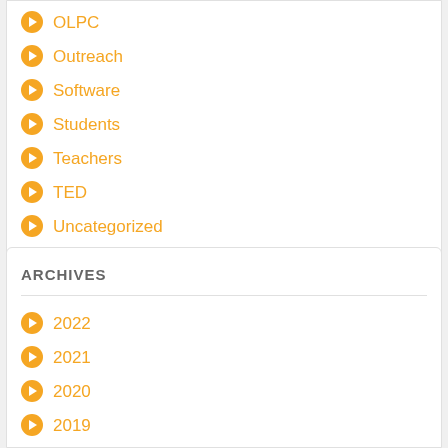OLPC
Outreach
Software
Students
Teachers
TED
Uncategorized
Workshop
ARCHIVES
2022
2021
2020
2019
2018
2017